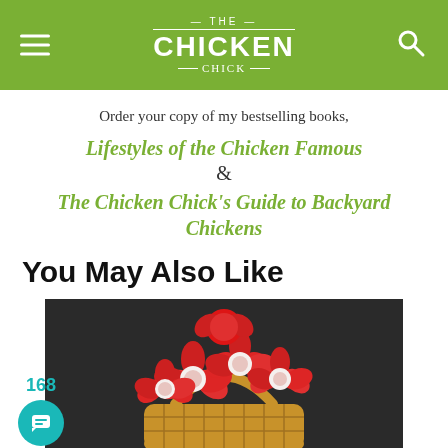THE CHICKEN CHICK
Order your copy of my bestselling books,
Lifestyles of the Chicken Famous
&
The Chicken Chick's Guide to Backyard Chickens
You May Also Like
[Figure (photo): A basket filled with red paper flower lollipop bouquets on a dark background]